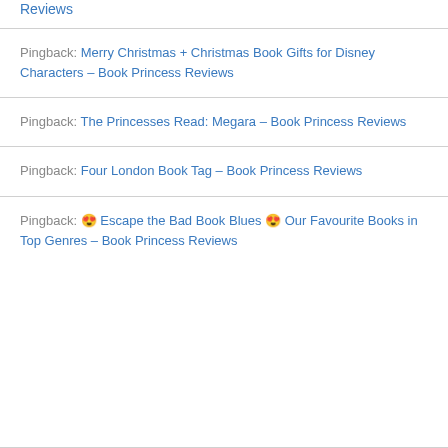Reviews
Pingback: Merry Christmas + Christmas Book Gifts for Disney Characters – Book Princess Reviews
Pingback: The Princesses Read: Megara – Book Princess Reviews
Pingback: Four London Book Tag – Book Princess Reviews
Pingback: 😍 Escape the Bad Book Blues 😍 Our Favourite Books in Top Genres – Book Princess Reviews